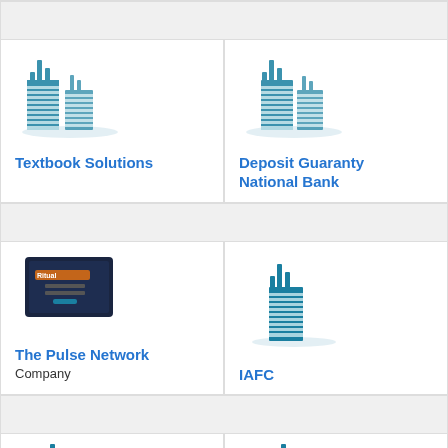[Figure (logo): Textbook Solutions building icon]
Textbook Solutions
[Figure (logo): Deposit Guaranty National Bank building icon]
Deposit Guaranty National Bank
[Figure (screenshot): The Pulse Network screenshot]
The Pulse Network
Company
[Figure (logo): IAFC building icon]
IAFC
[Figure (logo): Building icon bottom left]
[Figure (logo): Building icon bottom right]